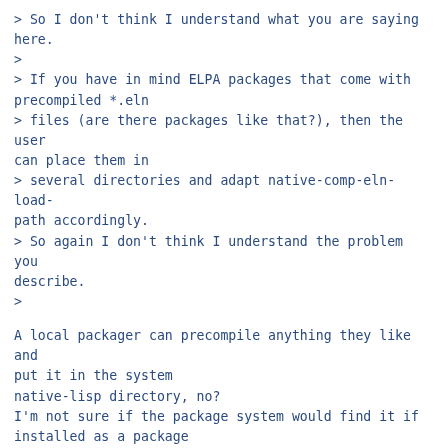> So I don't think I understand what you are saying here.
>
> If you have in mind ELPA packages that come with precompiled *.eln
> files (are there packages like that?), then the user can place them in
> several directories and adapt native-comp-eln-load-path accordingly.
> So again I don't think I understand the problem you describe.
>
A local packager can precompile anything they like and put it in the system
native-lisp directory, no?
I'm not sure if the package system would find it if installed as a package
by the user, but many packages are just single files that can just be
placed directly in site-lisp and used directly.
> > this was one of the points mentioned in
> > https://lists.gnu.org/archive/html/emacs-devel/2022-01/msg01005.html as
> it related to the system lisp files.
>
> Sorry, I don't see anything about the issue of eln-